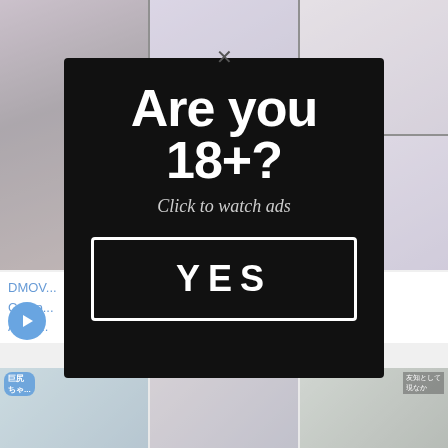[Figure (screenshot): Background website page showing adult content thumbnails with Japanese text, partially visible behind modal overlay]
[Figure (screenshot): Age verification modal popup with dark/black background. Large white bold text reads 'Are you 18+?' with subtitle 'Click to watch ads' and a bordered YES button. An X close button appears above the modal.]